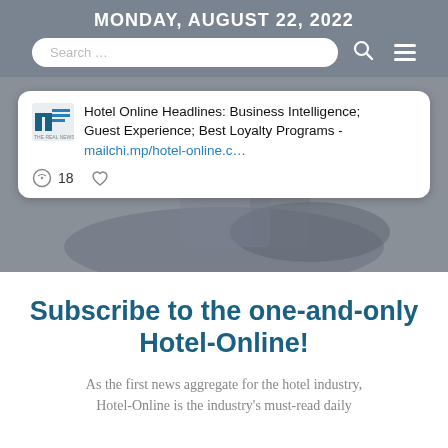MONDAY, AUGUST 22, 2022
[Figure (screenshot): Search bar with placeholder text 'Search ...' and a search icon and hamburger menu icon on a grey background]
[Figure (screenshot): Tweet card overlay on a blurred hotel image background. Card shows Hotel Online logo, tweet text: 'Hotel Online Headlines: Business Intelligence; Guest Experience; Best Loyalty Programs - mailchi.mp/hotel-online.c…' with 18 comments and a like icon.]
Subscribe to the one-and-only Hotel-Online!
As the first news aggregate for the hotel industry, Hotel-Online is the industry's must-read daily...